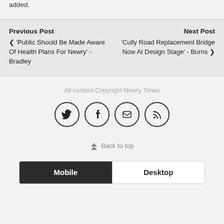added.
Previous Post ❮ 'Public Should Be Made Aware Of Health Plans For Newry' - Bradley   Next Post 'Cully Road Replacement Bridge Now At Design Stage' - Burns ❯
All content Copyright Newry Times
[Figure (other): Social media icons: Twitter, Facebook, Email, RSS — each in a circle]
⇧ Back to top
Mobile   Desktop